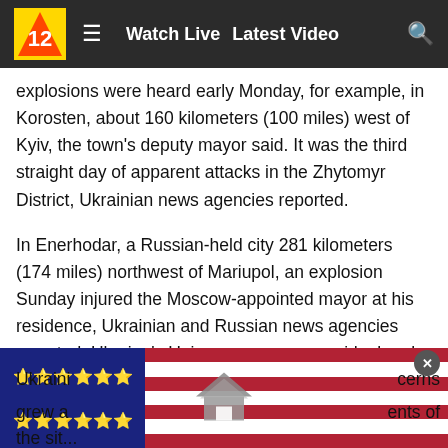Watch Live  Latest Video
explosions were heard early Monday, for example, in Korosten, about 160 kilometers (100 miles) west of Kyiv, the town's deputy mayor said. It was the third straight day of apparent attacks in the Zhytomyr District, Ukrainian news agencies reported.
In Enerhodar, a Russian-held city 281 kilometers (174 miles) northwest of Mariupol, an explosion Sunday injured the Moscow-appointed mayor at his residence, Ukrainian and Russian news agencies reported. Ukraine's Unian news agency said a bomb planted by “local partisans” wounded 48-year-old Andrei Shevchuk, who lives near the Zaporizhzhia Nuclear Power Plant, Europe's largest.
With Russia claiming to have taken prisoner nearly 2,500 Ukraini… cerns grew a… ents of the sit…
[Figure (photo): American flag photo used as advertisement overlay at bottom of page]